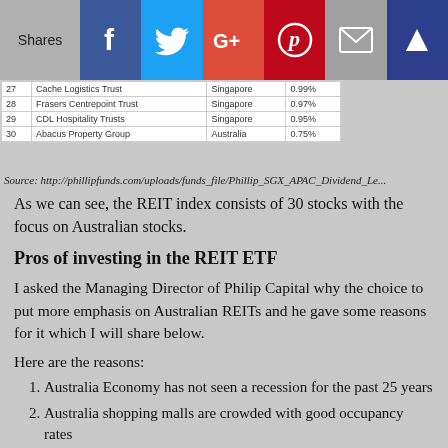Shares [social icons: Facebook, Twitter, Google+, Pinterest, Email, Feedly]
| # | Name | Country | Weight |
| --- | --- | --- | --- |
| 27 | Cache Logistics Trust | Singapore | 0.99% |
| 28 | Frasers Centrepoint Trust | Singapore | 0.97% |
| 29 | CDL Hospitality Trusts | Singapore | 0.95% |
| 30 | Abacus Property Group | Australia | 0.75% |
Source: http://phillipfunds.com/uploads/funds_file/Phillip_SGX_APAC_Dividend_Le...
As we can see, the REIT index consists of 30 stocks with the focus on Australian stocks.
Pros of investing in the REIT ETF
I asked the Managing Director of Philip Capital why the choice to put more emphasis on Australian REITs and he gave some reasons for it which I will share below.
Here are the reasons:
Australia Economy has not seen a recession for the past 25 years
Australia shopping malls are crowded with good occupancy rates